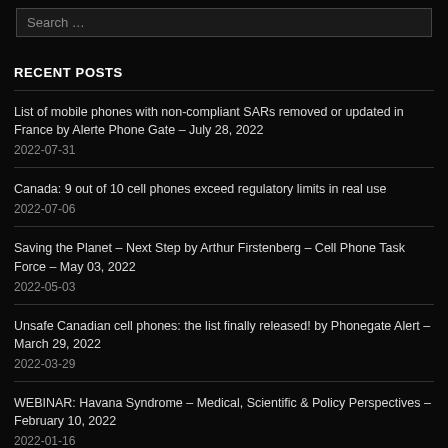Search …
RECENT POSTS
List of mobile phones with non-compliant SARs removed or updated in France by Alerte Phone Gate – July 28, 2022
2022-07-31
Canada: 9 out of 10 cell phones exceed regulatory limits in real use
2022-07-06
Saving the Planet – Next Step by Arthur Firstenberg – Cell Phone Task Force – May 03, 2022
2022-05-03
Unsafe Canadian cell phones: the list finally released! by Phonegate Alert – March 29, 2022
2022-03-29
WEBINAR: Havana Syndrome – Medical, Scientific & Policy Perspectives – February 10, 2022
2022-01-16